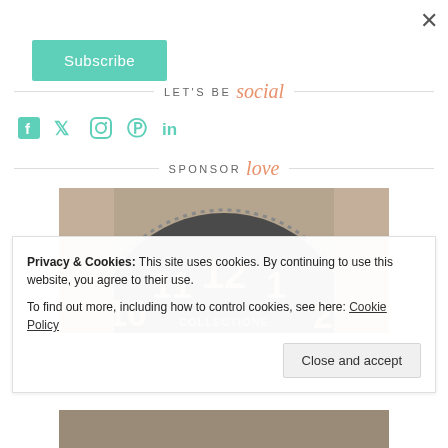×
Subscribe
LET'S BE social
Social icons: Facebook, Twitter, Instagram, Pinterest, LinkedIn
SPONSOR love
[Figure (photo): Close-up of a large industrial clock face showing numbers 10, 11, 12, 1, 2 with text COLLECTIONE Paris on the face, against a brick wall background]
Privacy & Cookies: This site uses cookies. By continuing to use this website, you agree to their use. To find out more, including how to control cookies, see here: Cookie Policy
Close and accept